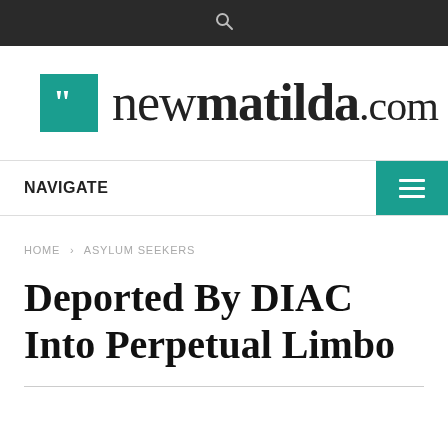Search bar (navigation top)
[Figure (logo): newmatilda.com logo with teal quotation mark icon]
NAVIGATE
HOME > ASYLUM SEEKERS
Deported By DIAC Into Perpetual Limbo